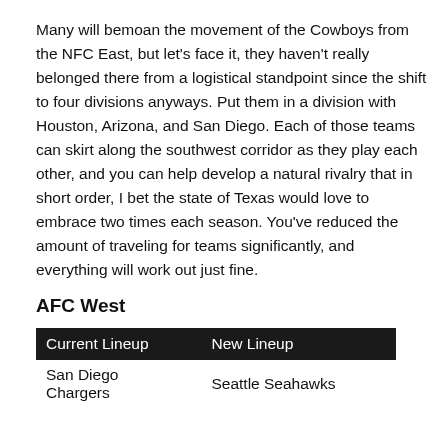Many will bemoan the movement of the Cowboys from the NFC East, but let's face it, they haven't really belonged there from a logistical standpoint since the shift to four divisions anyways. Put them in a division with Houston, Arizona, and San Diego. Each of those teams can skirt along the southwest corridor as they play each other, and you can help develop a natural rivalry that in short order, I bet the state of Texas would love to embrace two times each season. You've reduced the amount of traveling for teams significantly, and everything will work out just fine.
AFC West
| Current Lineup | New Lineup |
| --- | --- |
| San Diego Chargers | Seattle Seahawks |